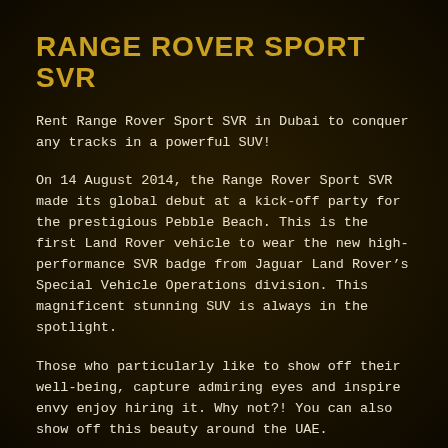RANGE ROVER SPORT SVR
Rent Range Rover Sport SVR in Dubai to conquer any tracks in a powerful SUV!
On 14 August 2014, the Range Rover Sport SVR made its global debut at a kick-off party for the prestigious Pebble Beach. This is the first Land Rover vehicle to wear the new high-performance SVR badge from Jaguar Land Rover’s Special Vehicle Operations division. This magnificent stunning SUV is always in the spotlight.
Those who particularly like to show off their well-being, capture admiring eyes and inspire envy enjoy hiring it. Why not?! You can also show off this beauty around the UAE.
Fully packed with extras!
The Range Rover Sport SVR is the most desirable package for the fans of this brand and one of the most